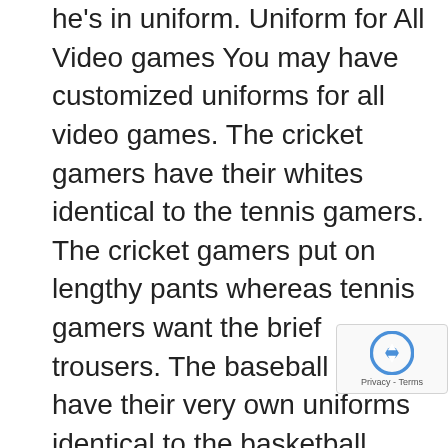he's in uniform. Uniform for All Video games You may have customized uniforms for all video games. The cricket gamers have their whites identical to the tennis gamers. The cricket gamers put on lengthy pants whereas tennis gamers want the brief trousers. The baseball gamers have their very own uniforms identical to the basketball gamers. Even athletes have their uniform after they symbolize a state or membership. Make your personal Soccer Uniform together with the design in the best way you select. Put within the stripes and squares get the stable colours to match the strips of the trousers. The uniform comes alive when the gamers determine with it and they'll do it solely after they have sufficient liking for the colours. So, be sure you use the precise colours. Elevate the Crew Spirit The colours grow to be the staff and the staff identifies with it. It rouses their staff spirit. For that reason, it's advisable to make use of follow classes when the staff is sporting colours. This may assist them understand their dedication to their staff. It additionally helps to knit strikes effectively as a result of the gamers are capable